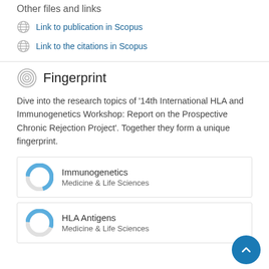Other files and links
Link to publication in Scopus
Link to the citations in Scopus
Fingerprint
Dive into the research topics of '14th International HLA and Immunogenetics Workshop: Report on the Prospective Chronic Rejection Project'. Together they form a unique fingerprint.
Immunogenetics
Medicine & Life Sciences
HLA Antigens
Medicine & Life Sciences